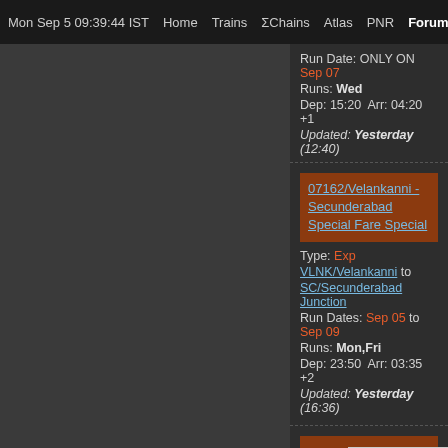Mon Sep 5 09:39:44 IST  Home  Trains  ΣChains  Atlas  PNR  Forum  Quiz F
Run Date: ONLY ON Sep 07
Runs: Wed
Dep: 15:20  Arr: 04:20 +1
Updated: Yesterday (12:40)
07162/Velankanni - Secunderabad Special Fare Special
Type: Exp
VLNK/Velankanni to SC/Secunderabad Junction
Run Dates: Sep 05 to Sep 09
Runs: Mon,Fri
Dep: 23:50  Arr: 03:35 +2
Updated: Yesterday (16:36)
07156/Nar...
Scroll to